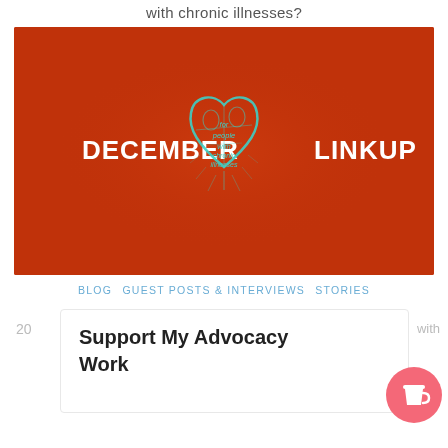with chronic illnesses?
[Figure (illustration): Red background banner image with teal anatomical heart illustration in center. Text reads 'DECEMBER' on the left, 'LINKUP' on the right, and 'for people with chronic illnesses' overlaid on the heart in the middle.]
BLOG   GUEST POSTS & INTERVIEWS   STORIES
20
Support My Advocacy Work
with